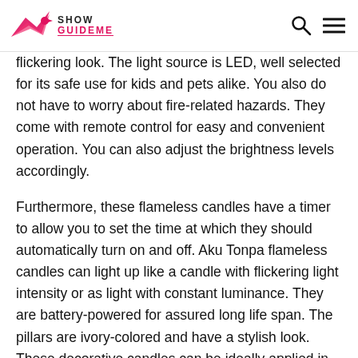Show GuideMe
flickering look. The light source is LED, well selected for its safe use for kids and pets alike. You also do not have to worry about fire-related hazards. They come with remote control for easy and convenient operation. You can also adjust the brightness levels accordingly.

Furthermore, these flameless candles have a timer to allow you to set the time at which they should automatically turn on and off. Aku Tonpa flameless candles can light up like a candle with flickering light intensity or as light with constant luminance. They are battery-powered for assured long life span. The pillars are ivory-colored and have a stylish look. These decorative candles can be ideally applied in Christmas, birthdays, home decorations, hotels, parties, holidays, and many more applications. The